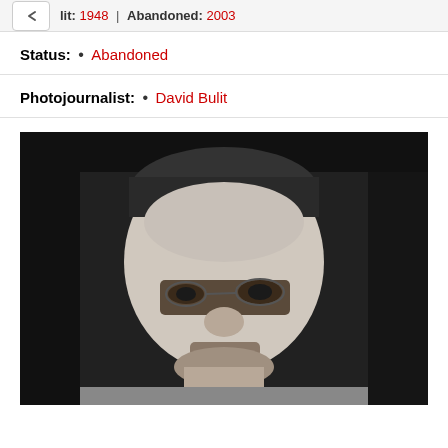Bulit: 1948 | Abandoned: 2003
Status: • Abandoned
Photojournalist: • David Bulit
[Figure (photo): Black and white grainy photograph of a man's face, close-up portrait shot]